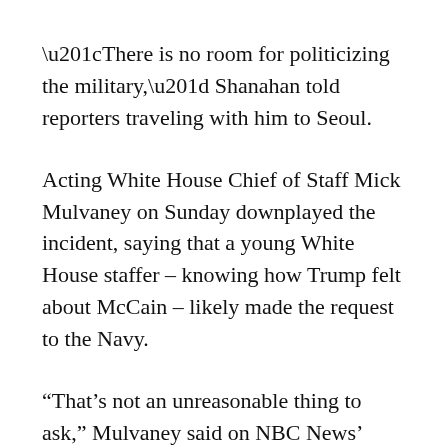“There is no room for politicizing the military,” Shanahan told reporters traveling with him to Seoul.
Acting White House Chief of Staff Mick Mulvaney on Sunday downplayed the incident, saying that a young White House staffer – knowing how Trump felt about McCain – likely made the request to the Navy.
“That’s not an unreasonable thing to ask,” Mulvaney said on NBC News’ Meet the Press program. He said it would be “silly” to fire that